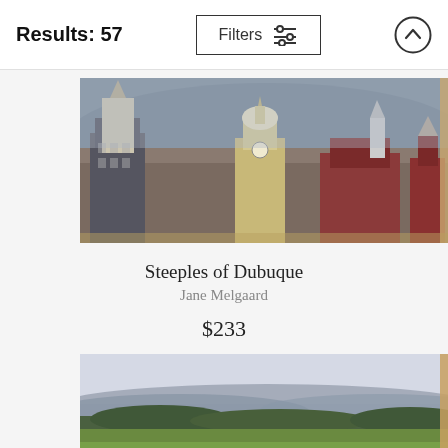Results: 57
Filters
[Figure (photo): Panoramic cityscape showing Steeples of Dubuque with historic church steeples and downtown buildings]
Steeples of Dubuque
Jane Melgaard
$233
[Figure (photo): Aerial landscape photo showing rolling hills and farmland with hazy sky, partial view cut off at bottom]